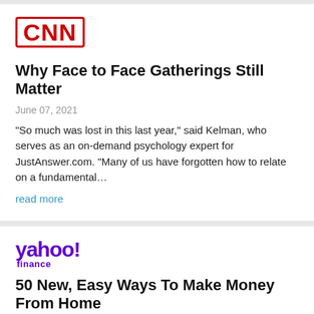[Figure (logo): CNN logo in red block letters with red border]
Why Face to Face Gatherings Still Matter
June 07, 2021
"So much was lost in this last year," said Kelman, who serves as an on-demand psychology expert for JustAnswer.com. "Many of us have forgotten how to relate on a fundamental…
read more
[Figure (logo): Yahoo Finance logo in purple]
50 New, Easy Ways To Make Money From Home
June 04, 2021
If you have specialized knowledge, you can monetize it by signing up as an expert to help others online. For example,